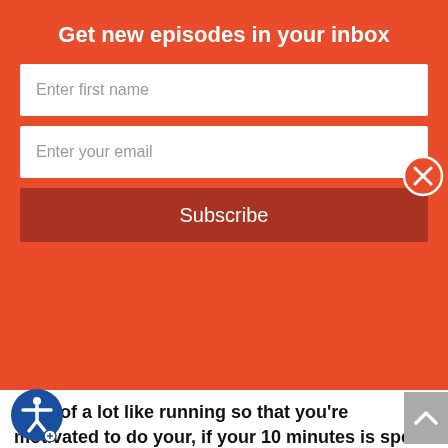Get new episodes in your inbox
Enter first name
Enter your email
Subscribe
heck of a lot like running so that you're motivated to do your, if your 10 minutes is spent running and that's your goal, you'll do it.
Speaker 3 (29:32):
Do you know what I mean? But if I say you got to lay down on the ground and do these rehab exercises that make no connection for you, you human, emotional, or your brain to your goal. You're not going to be motivated to do that. So I have always broken down their exercise programs, if they are CrossFitters or going to gym or whatever it is, show me three exercises that you like to